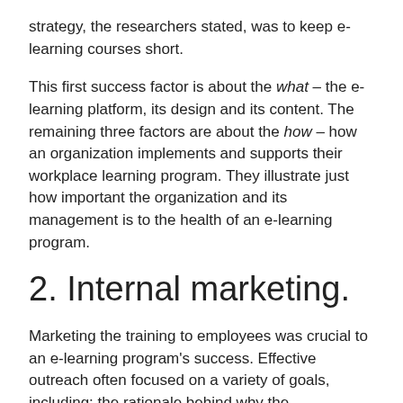strategy, the researchers stated, was to keep e-learning courses short.
This first success factor is about the what – the e-learning platform, its design and its content. The remaining three factors are about the how – how an organization implements and supports their workplace learning program. They illustrate just how important the organization and its management is to the health of an e-learning program.
2. Internal marketing.
Marketing the training to employees was crucial to an e-learning program's success. Effective outreach often focused on a variety of goals, including: the rationale behind why the organization has adopted the training program and what its goals are; spreading awareness of the e-learning tool and the available content; and